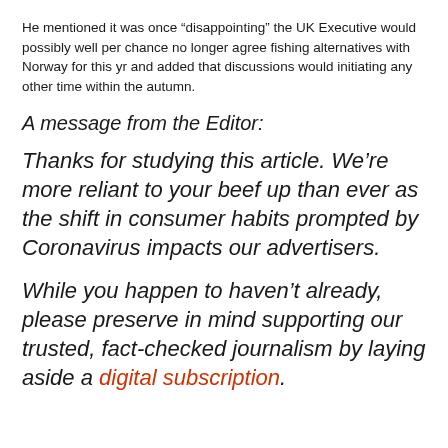He mentioned it was once “disappointing” the UK Executive would possibly well per chance no longer agree fishing alternatives with Norway for this yr and added that discussions would initiating any other time within the autumn.
A message from the Editor:
Thanks for studying this article. We’re more reliant to your beef up than ever as the shift in consumer habits prompted by Coronavirus impacts our advertisers.
While you happen to haven’t already, please preserve in mind supporting our trusted, fact-checked journalism by laying aside a digital subscription.